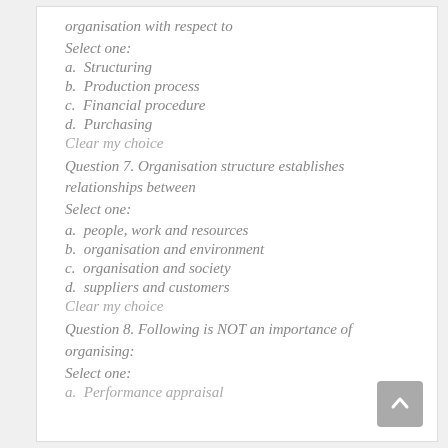organisation with respect to
Select one:
a.  Structuring
b.  Production process
c.  Financial procedure
d.  Purchasing
Clear my choice
Question 7. Organisation structure establishes relationships between
Select one:
a.  people, work and resources
b.  organisation and environment
c.  organisation and society
d.  suppliers and customers
Clear my choice
Question 8. Following is NOT an importance of organising:
Select one:
a.  Performance appraisal